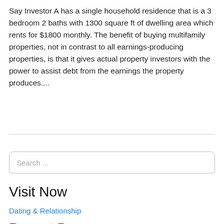Say Investor A has a single household residence that is a 3 bedroom 2 baths with 1300 square ft of dwelling area which rents for $1800 monthly. The benefit of buying multifamily properties, not in contrast to all earnings-producing properties, is that it gives actual property investors with the power to assist debt from the earnings the property produces....
Visit Now
Dating & Relationship
Recent Posts